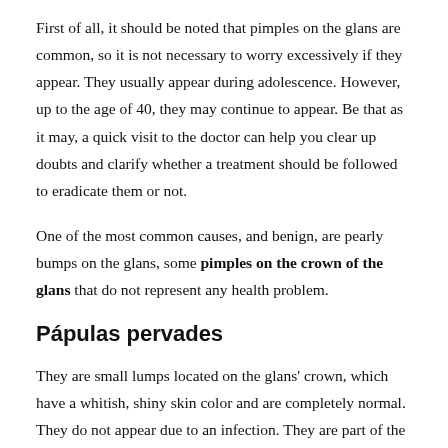First of all, it should be noted that pimples on the glans are common, so it is not necessary to worry excessively if they appear. They usually appear during adolescence. However, up to the age of 40, they may continue to appear. Be that as it may, a quick visit to the doctor can help you clear up doubts and clarify whether a treatment should be followed to eradicate them or not.
One of the most common causes, and benign, are pearly bumps on the glans, some pimples on the crown of the glans that do not represent any health problem.
Pápulas pervades
They are small lumps located on the glans' crown, which have a whitish, shiny skin color and are completely normal. They do not appear due to an infection. They are part of the anatomy of the penis. In some cases, they are present since childhood, while in